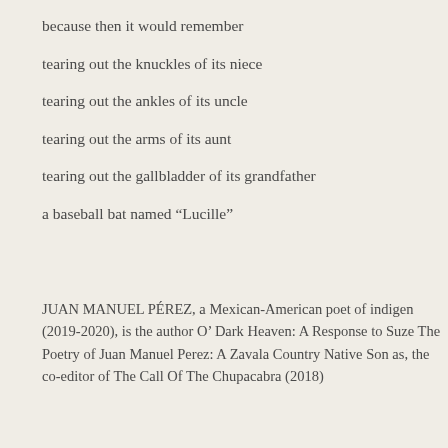because then it would remember
tearing out the knuckles of its niece
tearing out the ankles of its uncle
tearing out the arms of its aunt
tearing out the gallbladder of its grandfather
a baseball bat named “Lucille”
JUAN MANUEL PÉREZ, a Mexican-American poet of indigenous (2019-2020), is the author O’ Dark Heaven: A Response to Suze The Poetry of Juan Manuel Perez: A Zavala Country Native Son as, the co-editor of The Call Of The Chupacabra (2018)